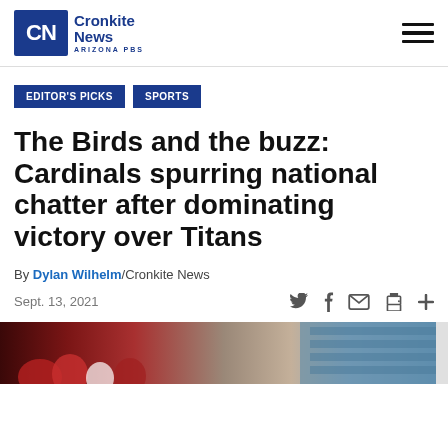Cronkite News - Arizona PBS
EDITOR'S PICKS
SPORTS
The Birds and the buzz: Cardinals spurring national chatter after dominating victory over Titans
By Dylan Wilhelm/Cronkite News
Sept. 13, 2021
[Figure (photo): Photo strip showing fans/crowd at a football game with Cardinals fans visible]